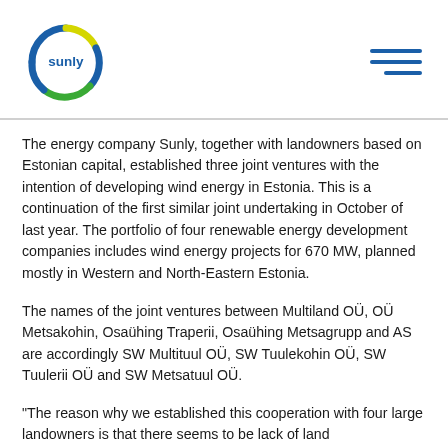[Figure (logo): Sunly logo — circular arc in blue, yellow, and green with 'sunly' text in the center]
The energy company Sunly, together with landowners based on Estonian capital, established three joint ventures with the intention of developing wind energy in Estonia. This is a continuation of the first similar joint undertaking in October of last year. The portfolio of four renewable energy development companies includes wind energy projects for 670 MW, planned mostly in Western and North-Eastern Estonia.
The names of the joint ventures between Multiland OÜ, OÜ Metsakohin, Osaühing Traperii, Osaühing Metsagrupp and AS are accordingly SW Multituul OÜ, SW Tuulekohin OÜ, SW Tuulerii OÜ and SW Metsatuul OÜ.
“The reason why we established this cooperation with four large landowners is that there seems to be lack of land